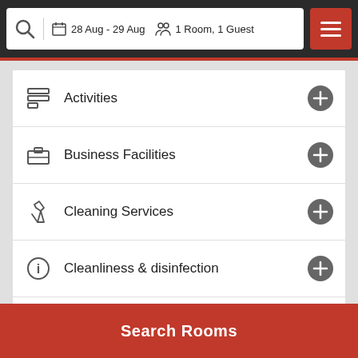28 Aug - 29 Aug | 1 Room, 1 Guest
Activities
Business Facilities
Cleaning Services
Cleanliness & disinfection
Common Areas
Food & Drink
Search Rooms